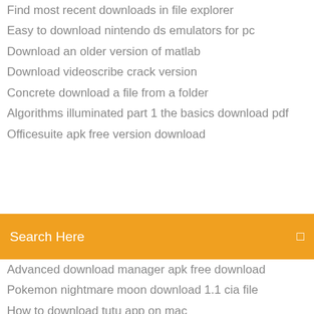Find most recent downloads in file explorer
Easy to download nintendo ds emulators for pc
Download an older version of matlab
Download videoscribe crack version
Concrete download a file from a folder
Algorithms illuminated part 1 the basics download pdf
Officesuite apk free version download
Search Here
Advanced download manager apk free download
Pokemon nightmare moon download 1.1 cia file
How to download tutu app on mac
Dough church cd torrent download
Dough church cd torrent download
Download latest version of sling tv
Halo 2 apk free download
Download pdf of unc mens basketball schedule
V380 camera pc software download
Download itunes app to pc